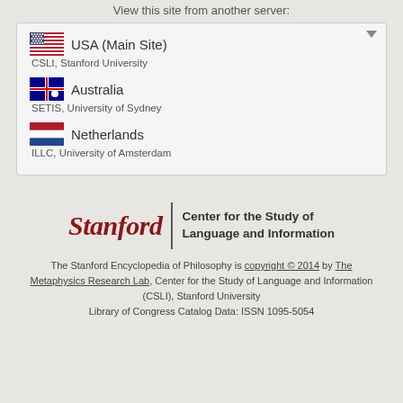View this site from another server:
USA (Main Site) — CSLI, Stanford University
Australia — SETIS, University of Sydney
Netherlands — ILLC, University of Amsterdam
[Figure (logo): Stanford | Center for the Study of Language and Information logo]
The Stanford Encyclopedia of Philosophy is copyright © 2014 by The Metaphysics Research Lab, Center for the Study of Language and Information (CSLI), Stanford University
Library of Congress Catalog Data: ISSN 1095-5054